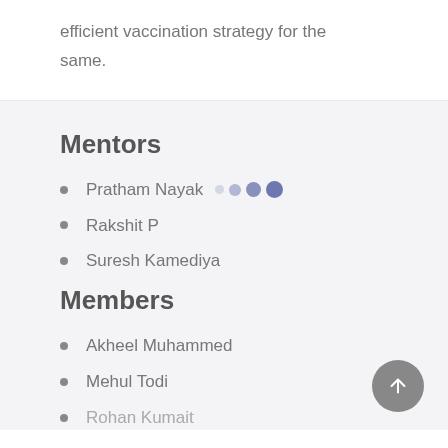efficient vaccination strategy for the same.
Mentors
Pratham Nayak
Rakshit P
Suresh Kamediya
Members
Akheel Muhammed
Mehul Todi
Rohan Kumait